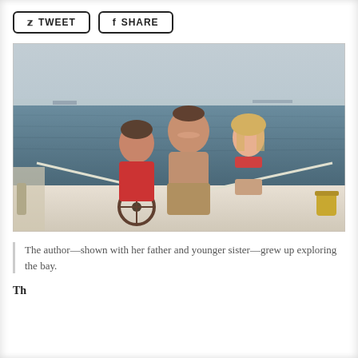TWEET   SHARE
[Figure (photo): A man and two girls standing on the deck of a sailboat on open water. The man is shirtless standing in the center, a girl in a red swimsuit is on the left at the steering wheel, and a girl in a patterned bikini is on the right. The background shows open bay water and a hazy sky.]
The author—shown with her father and younger sister—grew up exploring the bay.
Th...